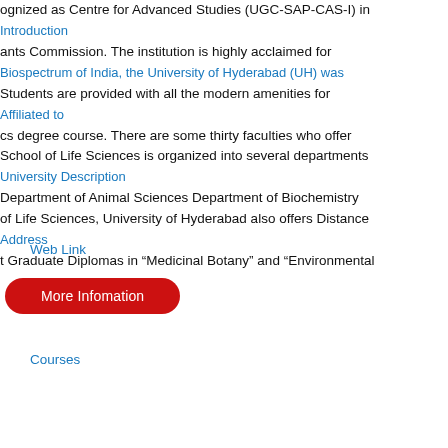ognized as Centre for Advanced Studies (UGC-SAP-CAS-I) in ants Commission. The institution is highly acclaimed for Biospectrum of India, the University of Hyderabad (UH) was Students are provided with all the modern amenities for cs degree course. There are some thirty faculties who offer School of Life Sciences is organized into several departments Department of Animal Sciences Department of Biochemistry of Life Sciences, University of Hyderabad also offers Distance t Graduate Diplomas in “Medicinal Botany” and “Environmental
Introduction
Affiliated to
University Description
Address
Web Link
More Infomation
Courses